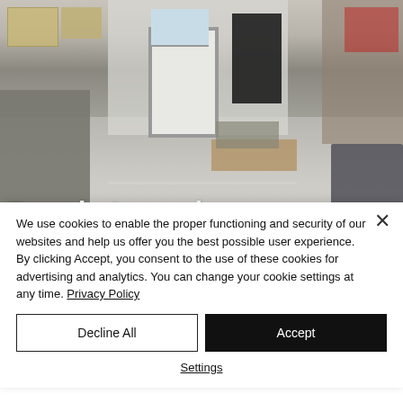[Figure (photo): Interior warehouse/storage room photo with wooden boxes on left, gray floor, white door in center background, dark appliance/fridge, wooden pallet with items, gray couch on right. Text overlay 'Rue de Louvain' in bold white at bottom left.]
We use cookies to enable the proper functioning and security of our websites and help us offer you the best possible user experience. By clicking Accept, you consent to the use of these cookies for advertising and analytics. You can change your cookie settings at any time. Privacy Policy
Decline All
Accept
Settings